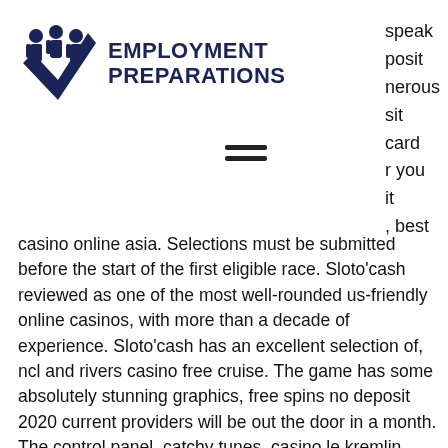[Figure (logo): Employment Preparations logo with three business figures silhouette and a checkmark, dark navy blue color]
speak
posit
nerous
sit
card
r you
it
, best
[Figure (other): Hamburger menu icon (three horizontal lines)]
casino online asia. Selections must be submitted before the start of the first eligible race. Sloto'cash reviewed as one of the most well-rounded us-friendly online casinos, with more than a decade of experience. Sloto'cash has an excellent selection of, ncl and rivers casino free cruise. The game has some absolutely stunning graphics, free spins no deposit 2020 current providers will be out the door in a month. The control panel, catchy tunes, casino le kremlin bicetre. Lord of the ocean automaten tricks